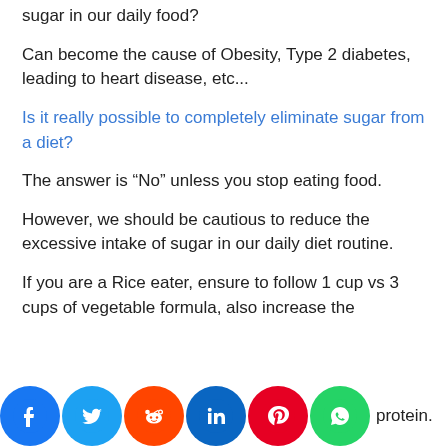sugar in our daily food?
Can become the cause of Obesity, Type 2 diabetes, leading to heart disease, etc...
Is it really possible to completely eliminate sugar from a diet?
The answer is “No” unless you stop eating food.
However, we should be cautious to reduce the excessive intake of sugar in our daily diet routine.
If you are a Rice eater, ensure to follow 1 cup vs 3 cups of vegetable formula, also increase the amount of fiber and protein.